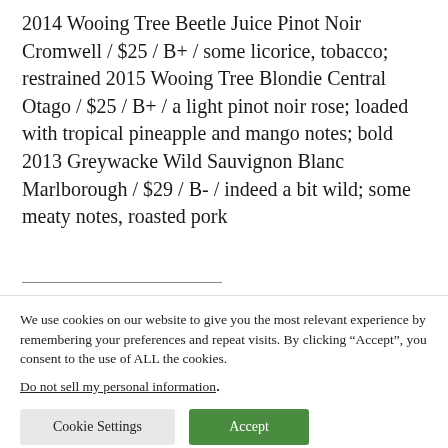2014 Wooing Tree Beetle Juice Pinot Noir Cromwell / $25 / B+ / some licorice, tobacco; restrained 2015 Wooing Tree Blondie Central Otago / $25 / B+ / a light pinot noir rose; loaded with tropical pineapple and mango notes; bold 2013 Greywacke Wild Sauvignon Blanc Marlborough / $29 / B- / indeed a bit wild; some meaty notes, roasted pork
We use cookies on our website to give you the most relevant experience by remembering your preferences and repeat visits. By clicking “Accept”, you consent to the use of ALL the cookies.
Do not sell my personal information.
Cookie Settings | Accept